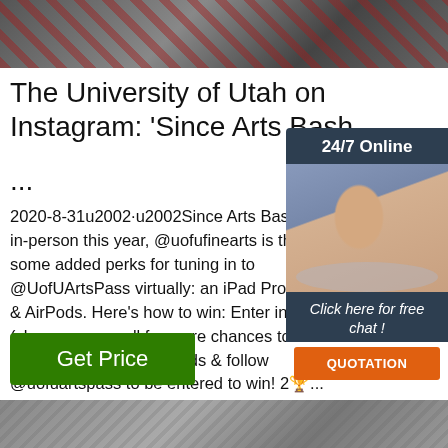[Figure (photo): Top partial photo, dark/reddish tones, cropped]
The University of Utah on Instagram: 'Since Arts Bash...
2020-8-31u2002·u2002Since Arts Bash can't be in-person this year, @uofufinearts is throwing some added perks for tuning in to @UofUArtsPass virtually: an iPad Pro w... & AirPods. Here's how to win: Enter in 3... (choose any or all for more chances to w... Like this post, tag 2 friends & follow @uofuartspass to be entered to win! 20... Arts Pass 101 video on artspass.utah.edu ...
[Figure (photo): Chat widget with woman in headset, 24/7 Online, Click here for free chat!, QUOTATION button]
[Figure (other): Get Price green button]
[Figure (photo): Bottom partial photo, grey tones, cropped]